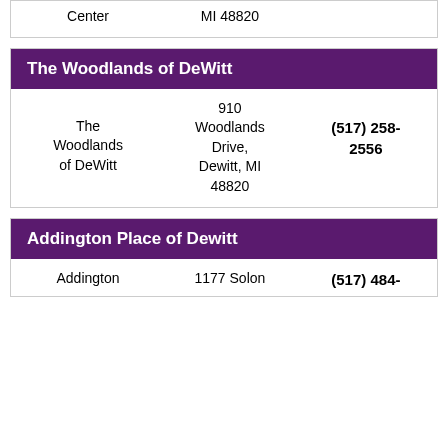| Name | Address | Phone |
| --- | --- | --- |
| Center | MI 48820 |  |
The Woodlands of DeWitt
| Name | Address | Phone |
| --- | --- | --- |
| The Woodlands of DeWitt | 910 Woodlands Drive, Dewitt, MI 48820 | (517) 258-2556 |
Addington Place of Dewitt
| Name | Address | Phone |
| --- | --- | --- |
| Addington | 1177 Solon | (517) 484-... |